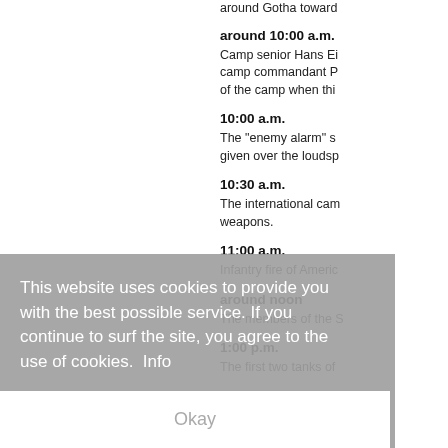around Gotha toward
around 10:00 a.m.
Camp senior Hans Ei camp commandant P of the camp when thi
10:00 a.m.
The "enemy alarm" s given over the loudsp
10:30 a.m.
The international cam weapons.
11:00 a.m.
Infantry fire of Americ
around noon
The members of the S
1:00 p.m.
The first two tanks of
This website uses cookies to provide you with the best possible service. If you continue to surf the site, you agree to the use of cookies.  Info